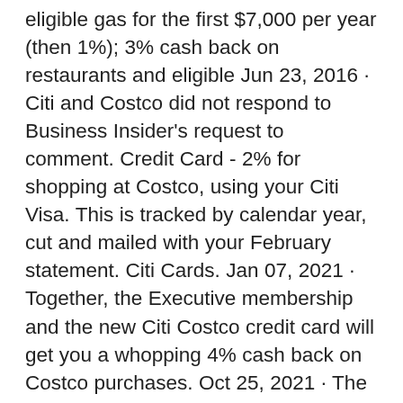eligible gas for the first $7,000 per year (then 1%); 3% cash back on restaurants and eligible Jun 23, 2016 · Citi and Costco did not respond to Business Insider's request to comment. Credit Card - 2% for shopping at Costco, using your Citi Visa. This is tracked by calendar year, cut and mailed with your February statement. Citi Cards. Jan 07, 2021 · Together, the Executive membership and the new Citi Costco credit card will get you a whopping 4% cash back on Costco purchases. Oct 25, 2021 · The Costco Credit Card extended warranty benefit adds 24 months to the existing warranty of items purchased with the card, up to a total warranty of 7 years. Been wanting this card since I citi simplicity visa card login my credit rebuild journey back in March 2020. Apply for Costco Anywhere Visa® Credit Card by Citi, one of Citi's Best Cash Back Rewards Cards Designed Exclusively for Costco Members. I contemplated if I wanted another pull after recieving 3 from NFCU and 1 from my